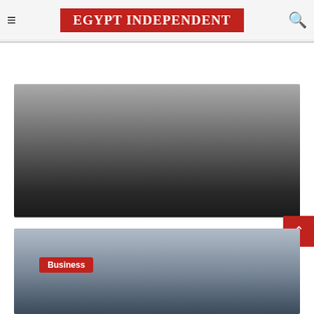EGYPT INDEPENDENT
Egypt
[Figure (photo): Dark gradient article card representing the Social democracy across the sea article]
January 21, 2013
Social democracy across the sea
[Figure (photo): Partial photo of a Gothic building/cathedral with blue sky]
Business